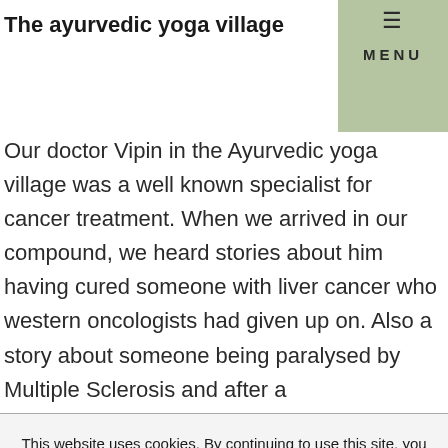The ayurvedic yoga village
Our doctor Vipin in the Ayurvedic yoga village was a well known specialist for cancer treatment. When we arrived in our compound, we heard stories about him having cured someone with liver cancer who western oncologists had given up on. Also a story about someone being paralysed by Multiple Sclerosis and after a
This website uses cookies. By continuing to use this site, you accept our use of cookies.  Learn more
Accept